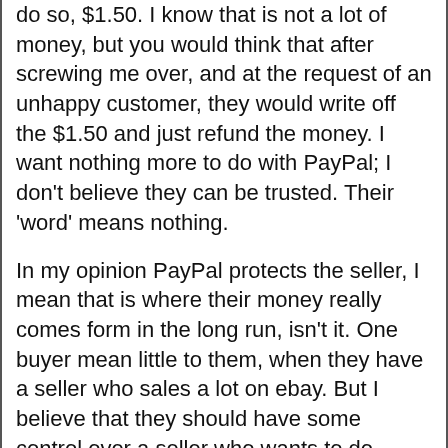do so, $1.50. I know that is not a lot of money, but you would think that after screwing me over, and at the request of an unhappy customer, they would write off the $1.50 and just refund the money. I want nothing more to do with PayPal; I don't believe they can be trusted. Their 'word' means nothing.
In my opinion PayPal protects the seller, I mean that is where their money really comes form in the long run, isn't it. One buyer mean little to them, when they have a seller who sales a lot on ebay. But I believe that they should have some control over a seller who wants to do business with them, whereby processing their payments through them. I believe with that control, they should be able to make a seller do right by a buyer, but they